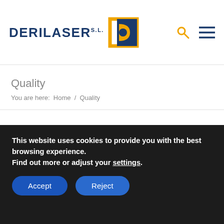DERILASER S.L.
Quality
You are here:  Home  /  Quality
This website uses cookies to provide you with the best browsing experience.
Find out more or adjust your settings.
Accept  Reject